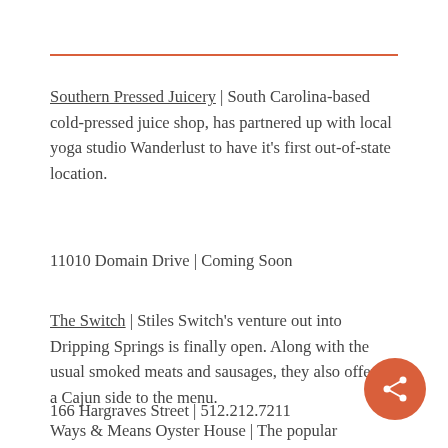Southern Pressed Juicery | South Carolina-based cold-pressed juice shop, has partnered up with local yoga studio Wanderlust to have it's first out-of-state location.
11010 Domain Drive  |  Coming Soon
The Switch | Stiles Switch's venture out into Dripping Springs is finally open. Along with the usual smoked meats and sausages, they also offer a Cajun side to the menu.
166 Hargraves Street  |  512.212.7211
Ways & Means Oyster House  |  The popular